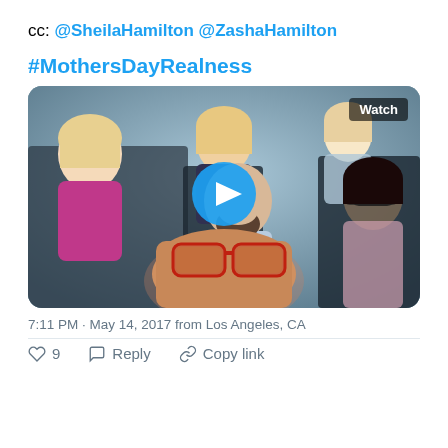cc: @SheilaHamilton @ZashaHamilton
#MothersDayRealness
[Figure (photo): Video thumbnail showing a group of people seated on a bus or vehicle. In the foreground is a person with red/orange large sunglasses taking a selfie. Behind them is a man in a light blue suit with a beard. To the right is a woman with dark hair and sunglasses smiling. In the background are more people seated including blond women. A blue circular play button is centered on the image. A 'Watch' badge appears in the top-right corner.]
7:11 PM · May 14, 2017 from Los Angeles, CA
♡ 9   Reply   Copy link